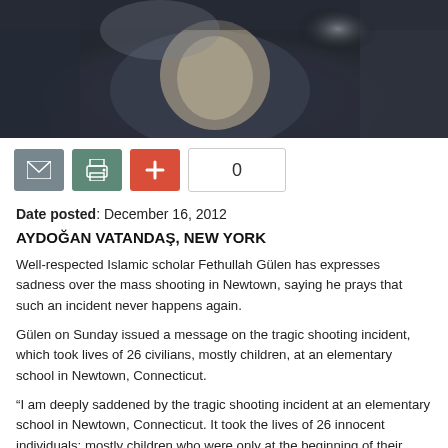[Figure (photo): Close-up photograph of a person wearing a dark jacket, partial view of face and torso]
Date posted: December 16, 2012
AYDOĞAN VATANDAŞ, NEW YORK
Well-respected Islamic scholar Fethullah Gülen has expresses sadness over the mass shooting in Newtown, saying he prays that such an incident never happens again.
Gülen on Sunday issued a message on the tragic shooting incident, which took lives of 26 civilians, mostly children, at an elementary school in Newtown, Connecticut.
“I am deeply saddened by the tragic shooting incident at an elementary school in Newtown, Connecticut. It took the lives of 26 innocent individuals; mostly children who were only at the beginning of their precious lives, and also the teachers who had dedicated themselves to nurturing and educating their students. I wish to express my deepest and heart-felt condolences to all the aggrieved